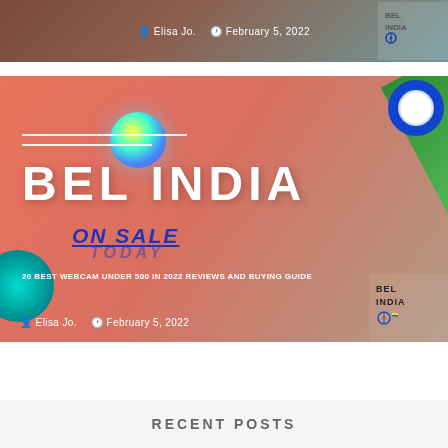[Figure (screenshot): Top card with brown-teal gradient background showing author Elisa Jo. and date February 5, 2022, with BEL INDIA logo top right]
Elisa Jo.   February 5, 2022
[Figure (screenshot): Main promotional image with salmon/coral background, BEL INDIA large white text, ON SALE TODAY in blue italic, 20 Best Webcam under 500 in 2022 Reviews and Buying Guide subtitle, author Elisa Jo. February 5 2022, green diagonal stripe top right, colorful sphere, BEL INDIA logo overlays]
20 BEST WEBCAM UNDER 500 IN 2022 REVIEWS AND BUYING GUIDE
Elisa Jo.   February 5, 2022
RECENT POSTS